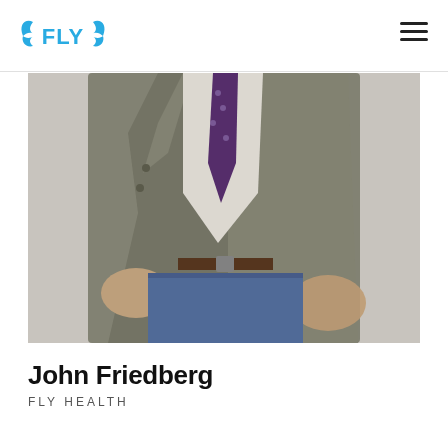FLY (logo with wings) | hamburger menu
[Figure (photo): Cropped photo of a person wearing a grey tweed blazer, white knit sweater, purple polka-dot tie, brown leather belt, and blue jeans. Hands are in pockets. Studio grey background.]
John Friedberg
FLY HEALTH